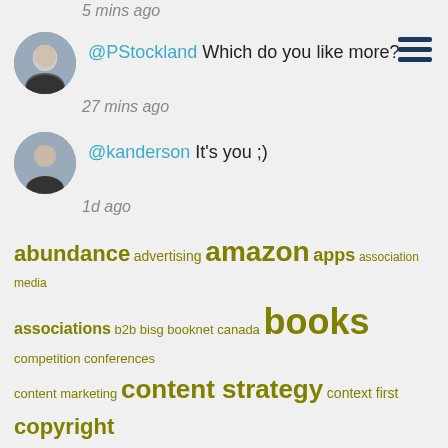5 mins ago
@PStockland Which do you like more?
27 mins ago
@kanderson It's you ;)
1d ago
abundance advertising amazon apps association media associations b2b bisg booknet canada books competition conferences content marketing content strategy context first copyright curation disruption drm ebooks innovation journalism libraries magazines metadata mobile mpa must read newspapers niche paid content patry piracy pod presentations price private equity strategy subscription supply chain toc twitter venture capital workflow xml
[Figure (other): Print/save icon button (blue rounded square with printer icon)]